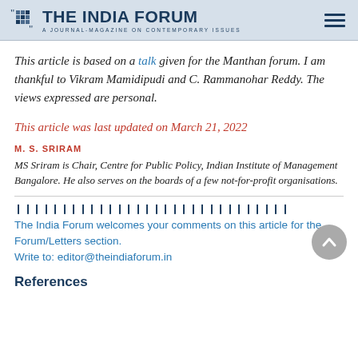THE INDIA FORUM — A JOURNAL-MAGAZINE ON CONTEMPORARY ISSUES
This article is based on a talk given for the Manthan forum. I am thankful to Vikram Mamidipudi and C. Rammanohar Reddy. The views expressed are personal.
This article was last updated on March 21, 2022
M. S. SRIRAM
MS Sriram is Chair, Centre for Public Policy, Indian Institute of Management Bangalore. He also serves on the boards of a few not-for-profit organisations.
The India Forum welcomes your comments on this article for the Forum/Letters section.
Write to: editor@theindiaforum.in
References